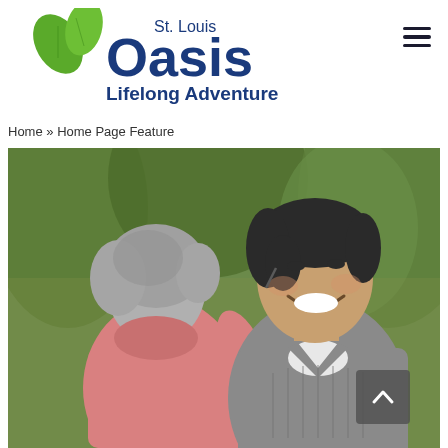[Figure (logo): St. Louis Oasis Lifelong Adventure logo with green leaves and dark blue text]
Home » Home Page Feature
[Figure (photo): Two older adults, a woman with gray hair in a pink shirt and a man in a gray vest, laughing together outdoors with green trees in the background]